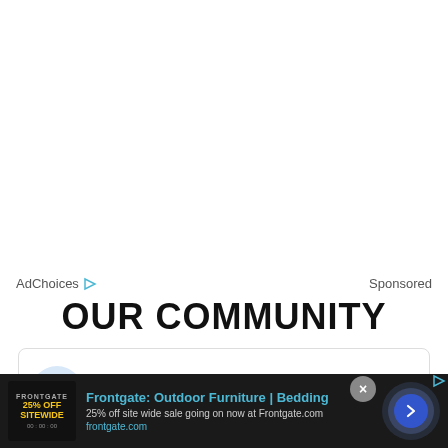AdChoices ▷   Sponsored
OUR COMMUNITY
Join the ZagsBlog community
[Figure (infographic): Advertisement banner for Frontgate: Outdoor Furniture | Bedding with 25% off site wide sale, showing product thumbnail and navigation arrow]
Frontgate: Outdoor Furniture | Bedding
25% off site wide sale going on now at Frontgate.com
frontgate.com